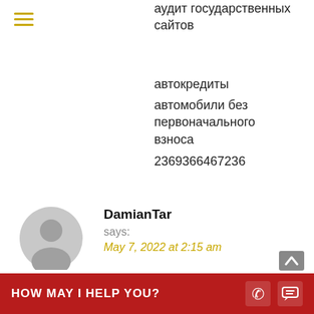[Figure (other): Hamburger menu icon with three horizontal yellow/gold lines]
аудит государственных сайтов
автокредиты
автомобили без первоначального взноса
2369366467236
[Figure (photo): User avatar placeholder circle with person silhouette in gray]
DamianTar
says:
May 7, 2022 at 2:15 am
автосервис ул микрозаймы
автоломбард
HOW MAY I HELP YOU?